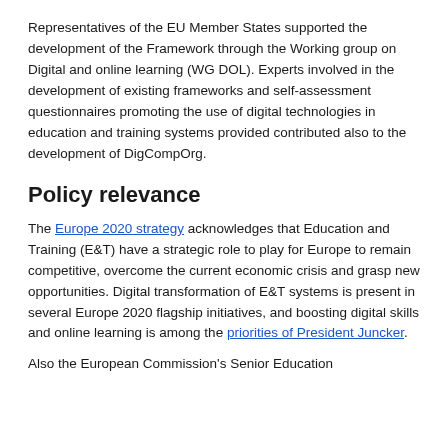Representatives of the EU Member States supported the development of the Framework through the Working group on Digital and online learning (WG DOL). Experts involved in the development of existing frameworks and self-assessment questionnaires promoting the use of digital technologies in education and training systems provided contributed also to the development of DigCompOrg.
Policy relevance
The Europe 2020 strategy acknowledges that Education and Training (E&T) have a strategic role to play for Europe to remain competitive, overcome the current economic crisis and grasp new opportunities. Digital transformation of E&T systems is present in several Europe 2020 flagship initiatives, and boosting digital skills and online learning is among the priorities of President Juncker.
Also the European Commission's Senior Education...